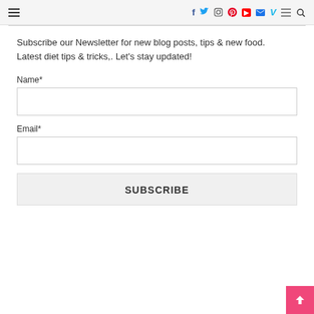Social media navigation bar with hamburger menu, Facebook, Twitter, Instagram, Pinterest, YouTube, Email, Vimeo icons, and search
Subscribe our Newsletter for new blog posts, tips & new food. Latest diet tips & tricks,. Let's stay updated!
Name*
Email*
SUBSCRIBE